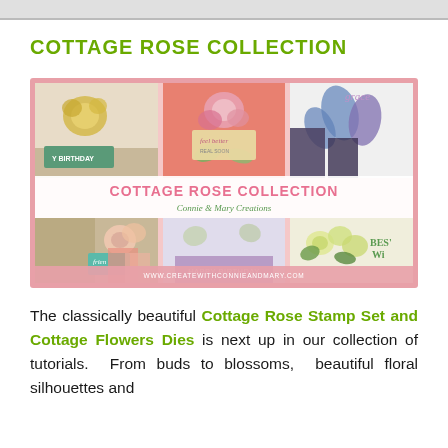COTTAGE ROSE COLLECTION
[Figure (photo): Collage banner image showing handmade greeting cards featuring the Cottage Rose Collection stamp set and dies, with floral designs in pink, blue, green and gold. Text overlay reads 'COTTAGE ROSE COLLECTION' and 'Connie & Mary Creations'. Bottom shows website www.createwithconnieandmary.com]
The classically beautiful Cottage Rose Stamp Set and Cottage Flowers Dies is next up in our collection of tutorials. From buds to blossoms, beautiful floral silhouettes and